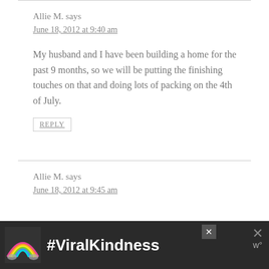Allie M. says
June 18, 2012 at 9:40 am
My husband and I have been building a home for the past 9 months, so we will be putting the finishing touches on that and doing lots of packing on the 4th of July.
REPLY
Allie M. says
June 18, 2012 at 9:45 am
[Figure (screenshot): Advertisement banner with rainbow and #ViralKindness text on dark background]